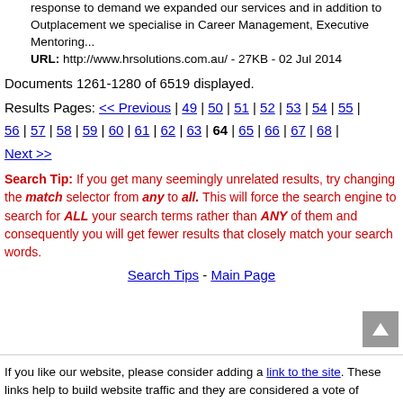response to demand we expanded our services and in addition to Outplacement we specialise in Career Management, Executive Mentoring... URL: http://www.hrsolutions.com.au/ - 27KB - 02 Jul 2014
Documents 1261-1280 of 6519 displayed.
Results Pages: << Previous | 49 | 50 | 51 | 52 | 53 | 54 | 55 | 56 | 57 | 58 | 59 | 60 | 61 | 62 | 63 | 64 | 65 | 66 | 67 | 68 | Next >>
Search Tip: If you get many seemingly unrelated results, try changing the match selector from any to all. This will force the search engine to search for ALL your search terms rather than ANY of them and consequently you will get fewer results that closely match your search words.
Search Tips - Main Page
If you like our website, please consider adding a link to the site. These links help to build website traffic and they are considered a vote of confidence for a site.